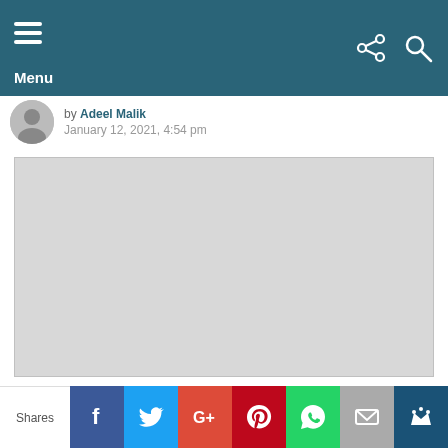Menu
by Adeel Malik
January 12, 2021, 4:54 pm
[Figure (photo): Article image placeholder (light grey rectangle)]
In response to the Jerusalem issue, Hong Kong Muslim organisations send Letter of
Shares